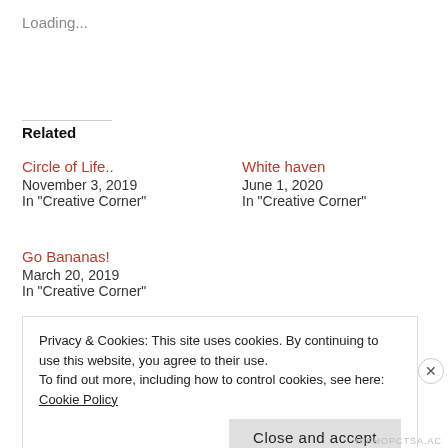Loading...
Related
Circle of Life..
November 3, 2019
In "Creative Corner"
White haven
June 1, 2020
In "Creative Corner"
Go Bananas!
March 20, 2019
In "Creative Corner"
Privacy & Cookies: This site uses cookies. By continuing to use this website, you agree to their use.
To find out more, including how to control cookies, see here: Cookie Policy
Close and accept